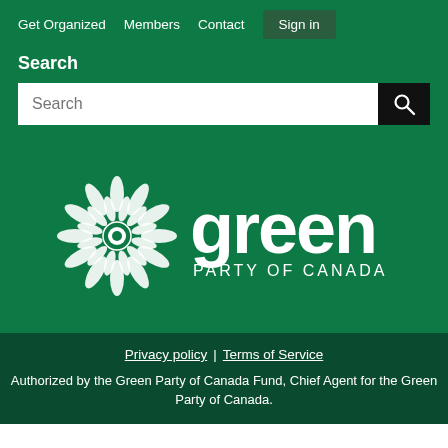Get Organized   Members   Contact   Sign in
Search
[Figure (logo): Green Party of Canada logo: white sunflower-like circular emblem on the left, followed by the word 'green' in large white lowercase letters, and 'PARTY OF CANADA' in smaller white uppercase letters beneath.]
Privacy policy | Terms of Service
Authorized by the Green Party of Canada Fund, Chief Agent for the Green Party of Canada.